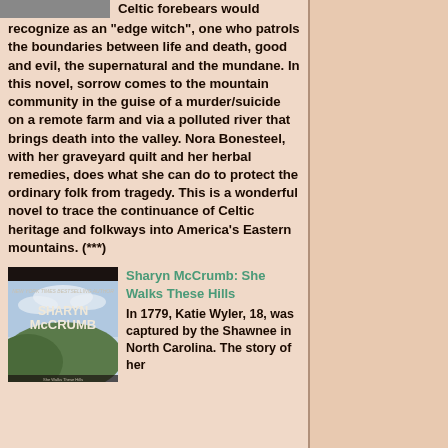Celtic forebears would recognize as an "edge witch", one who patrols the boundaries between life and death, good and evil, the supernatural and the mundane. In this novel, sorrow comes to the mountain community in the guise of a murder/suicide on a remote farm and via a polluted river that brings death into the valley. Nora Bonesteel, with her graveyard quilt and her herbal remedies, does what she can do to protect the ordinary folk from tragedy. This is a wonderful novel to trace the continuance of Celtic heritage and folkways into America's Eastern mountains. (***)
[Figure (photo): Book cover image of Sharyn McCrumb book - She Walks These Hills]
Sharyn McCrumb: She Walks These Hills
In 1779, Katie Wyler, 18, was captured by the Shawnee in North Carolina. The story of her